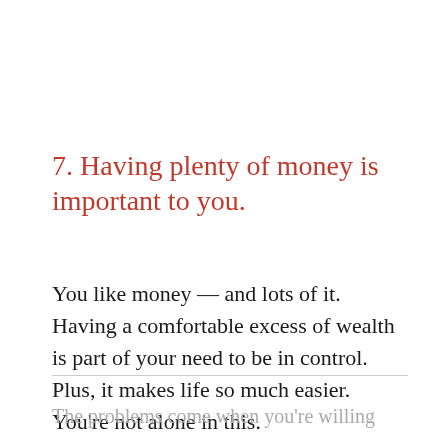7. Having plenty of money is important to you.
You like money — and lots of it. Having a comfortable excess of wealth is part of your need to be in control. Plus, it makes life so much easier. You're not alone in this.
The problems come when you're willing